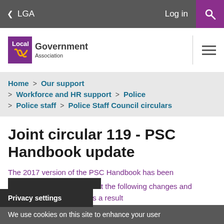< LGA   Log in [search]
[Figure (logo): Local Government Association logo with purple box and flame icon]
Home > Our support > Workforce and HR support > Police > Police staff > Police Staff Council circulars
Joint circular 119 - PSC Handbook update
The 2017 version of the PSC Handbook has been ... the following changes and ... s and conditions arising as a result
Privacy settings
We use cookies on this site to enhance your user